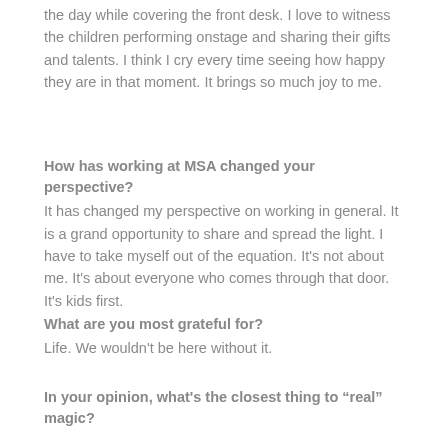the day while covering the front desk. I love to witness the children performing onstage and sharing their gifts and talents. I think I cry every time seeing how happy they are in that moment. It brings so much joy to me.
How has working at MSA changed your perspective? It has changed my perspective on working in general. It is a grand opportunity to share and spread the light. I have to take myself out of the equation. It's not about me. It's about everyone who comes through that door. It's kids first.
What are you most grateful for? Life. We wouldn't be here without it.
In your opinion, what's the closest thing to "real" magic? Genuine love. I would say there is nothing like it, it runs deep. It overflows and if it's in your heart, then it